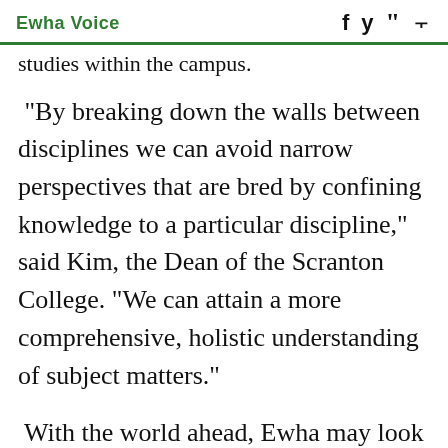Ewha Voice
studies within the campus.
“By breaking down the walls between disciplines we can avoid narrow perspectives that are bred by confining knowledge to a particular discipline,” said Kim, the Dean of the Scranton College. “We can attain a more comprehensive, holistic understanding of subject matters.”
With the world ahead, Ewha may look into precedents of well established interdisciplinary programs and understand